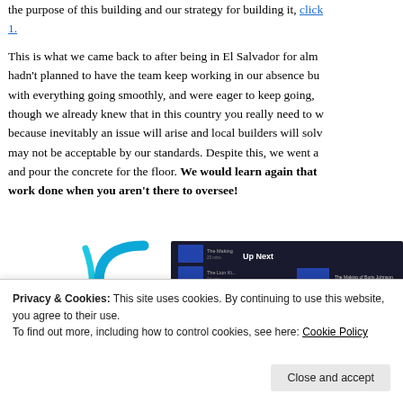the purpose of this building and our strategy for building it, click 1.
This is what we came back to after being in El Salvador for alm... hadn't planned to have the team keep working in our absence bu... with everything going smoothly, and were eager to keep going, ... though we already knew that in this country you really need to w... because inevitably an issue will arise and local builders will sol... may not be acceptable by our standards. Despite this, we went a... and pour the concrete for the floor. We would learn again that work done when you aren't there to oversee!
[Figure (screenshot): Partial screenshot showing a media/video player UI with 'Up Next' panel showing 'The Making of Boris Johnson' and other items, with a decorative blue curved shape on the left.]
Privacy & Cookies: This site uses cookies. By continuing to use this website, you agree to their use.
To find out more, including how to control cookies, see here: Cookie Policy
Close and accept